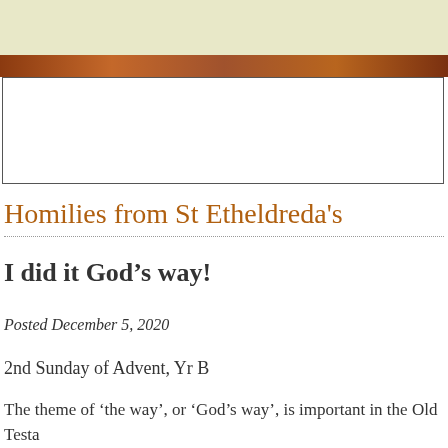[Figure (photo): Top beige/cream banner area at the top of the page]
[Figure (photo): Header image strip showing warm brown/orange tones, appears to be a photograph of people or artwork]
Homilies from St Etheldreda's
I did it God’s way!
Posted December 5, 2020
2nd Sunday of Advent, Yr B
The theme of ‘the way’, or ‘God’s way’, is important in the Old Testa evokes, first of all, the Exodus – the liberation of the Jewish people fr Egypt, when God made his way through the wilderness to rescue his r